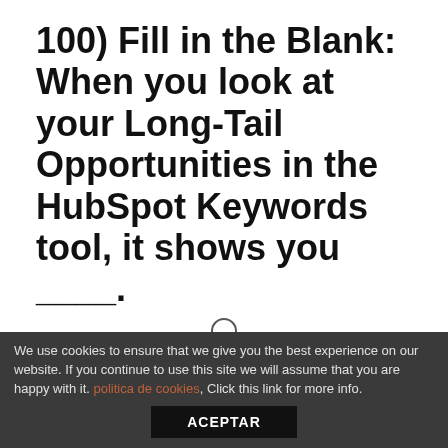100) Fill in the Blank: When you look at your Long-Tail Opportunities in the HubSpot Keywords tool, it shows you ____.
A)  long-tail keywords that you have an opportunity to start ranking for on the first page of search results
B)  short keywords that are too difficult to rank for, but could be turned into long-tail keywords
We use cookies to ensure that we give you the best experience on our website. If you continue to use this site we will assume that you are happy with it. politica de cookies. Click this link for more info.